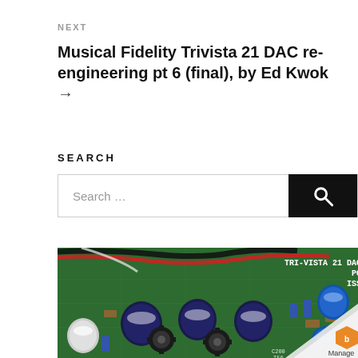NEXT
Musical Fidelity Trivista 21 DAC re-engineering pt 6 (final), by Ed Kwok →
SEARCH
Search …
[Figure (photo): Close-up photo of a green circuit board labeled 'TRI-VISTA 21 DAC MAIN PCB1750 ISSUE 03' with various electronic components including capacitors, inductors, and wiring visible. A paper curl is visible in the bottom-right corner with a 'Manage' badge.]